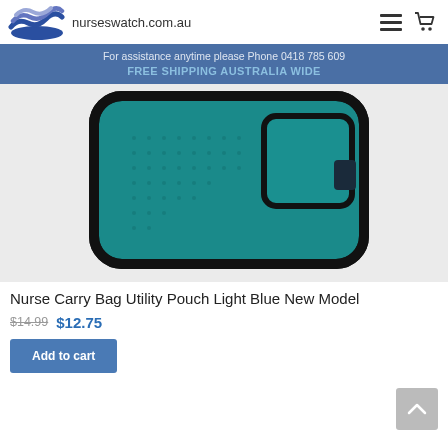nurseswatch.com.au
For assistance anytime please Phone 0418 785 609
FREE SHIPPING AUSTRALIA WIDE
[Figure (photo): A teal/light blue mesh nurse carry bag utility pouch with black trim and a small pocket on the right, photographed on a light grey background.]
Nurse Carry Bag Utility Pouch Light Blue New Model
$14.99 $12.75
Add to cart